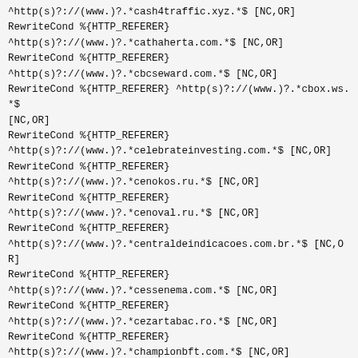^http(s)?://(www.)?.*.cash4traffic.xyz.*$ [NC,OR]
RewriteCond %{HTTP_REFERER}
^http(s)?://(www.)?.*.cathaherta.com.*$ [NC,OR]
RewriteCond %{HTTP_REFERER}
^http(s)?://(www.)?.*.cbcseward.com.*$ [NC,OR]
RewriteCond %{HTTP_REFERER} ^http(s)?://(www.)?.*.cbox.ws.*$
[NC,OR]
RewriteCond %{HTTP_REFERER}
^http(s)?://(www.)?.*.celebrateinvesting.com.*$ [NC,OR]
RewriteCond %{HTTP_REFERER}
^http(s)?://(www.)?.*.cenokos.ru.*$ [NC,OR]
RewriteCond %{HTTP_REFERER}
^http(s)?://(www.)?.*.cenoval.ru.*$ [NC,OR]
RewriteCond %{HTTP_REFERER}
^http(s)?://(www.)?.*.centraldeindicacoes.com.br.*$ [NC,OR]
RewriteCond %{HTTP_REFERER}
^http(s)?://(www.)?.*.cessenema.com.*$ [NC,OR]
RewriteCond %{HTTP_REFERER}
^http(s)?://(www.)?.*.cezartabac.ro.*$ [NC,OR]
RewriteCond %{HTTP_REFERER}
^http(s)?://(www.)?.*.championbft.com.*$ [NC,OR]
RewriteCond %{HTTP_REFERER}
^http(s)?://(www.)?.*.changeexchange2.ru.*$ [NC,OR]
RewriteCond %{HTTP_REFERER}
^http(s)?://(www.)?.*.chantalnesta.com.*$ [NC,OR]
RewriteCond %{HTTP_REFERER}
^http(s)?://(www.)?.*.chaseserver01.com.*$ [NC,OR]